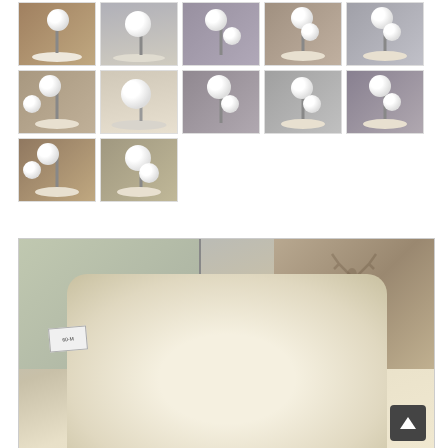[Figure (photo): Grid of 12 thumbnail photos showing a mid-century modern lamp with globe lights on a marble base, viewed from multiple angles in a shop setting]
[Figure (photo): Large main photo showing a close-up of a large rectangular lamp shade in a shop, with framed artwork featuring a deer/elk silhouette visible in the background, and a back-to-top navigation button in the lower right corner]